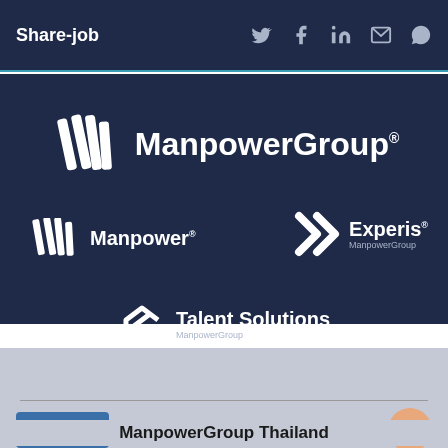Share-job
[Figure (logo): ManpowerGroup logo with striped icon and text]
[Figure (logo): Manpower logo with striped icon]
[Figure (logo): Experis ManpowerGroup logo with X icon]
[Figure (logo): Talent Solutions ManpowerGroup logo with arrow icon]
This website uses cookies to ensure you get the best experience on our website. Learn more
Contact Us
ManpowerGroup Thailand